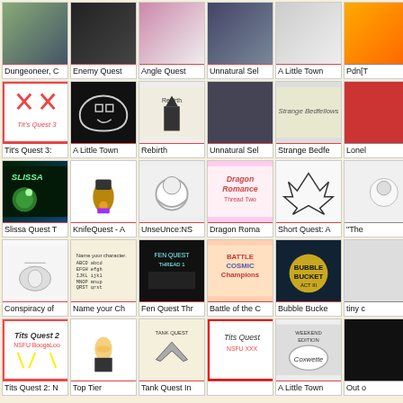[Figure (screenshot): Grid of quest/comic thumbnails with titles, 6 columns x 5 rows visible]
Dungeoneer, C
Enemy Quest
Angle Quest
Unnatural Sel
A Little Town
Pdn[T
Tit's Quest 3:
A Little Town
Rebirth
Unnatural Sel
Strange Bedfe
Lonel
Slissa Quest T
KnifeQuest - A
UnseUnce:NS
Dragon Roma
Short Quest: A
"The
Conspiracy of
Name your Ch
Fen Quest Thr
Battle of the C
Bubble Bucke
tiny c
Tits Quest 2: N
Top Tier
Tank Quest In
A Little Town
Out o